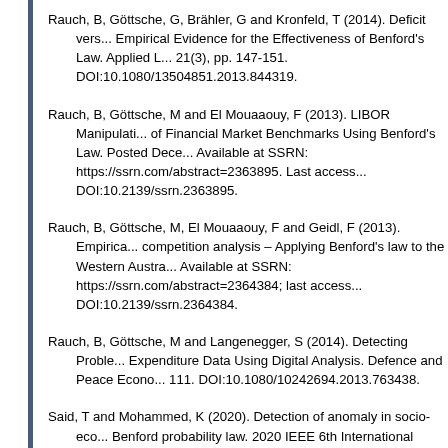Rauch, B, Göttsche, G, Brähler, G and Kronfeld, T (2014). Deficit vers... Empirical Evidence for the Effectiveness of Benford's Law. Applied L... 21(3), pp. 147-151. DOI:10.1080/13504851.2013.844319.
Rauch, B, Göttsche, M and El Mouaaouy, F (2013). LIBOR Manipulati... of Financial Market Benchmarks Using Benford's Law. Posted Dece... Available at SSRN: https://ssrn.com/abstract=2363895. Last access... DOI:10.2139/ssrn.2363895.
Rauch, B, Göttsche, M, El Mouaaouy, F and Geidl, F (2013). Empirica... competition analysis – Applying Benford's law to the Western Austra... Available at SSRN: https://ssrn.com/abstract=2364384; last access... DOI:10.2139/ssrn.2364384.
Rauch, B, Göttsche, M and Langenegger, S (2014). Detecting Proble... Expenditure Data Using Digital Analysis. Defence and Peace Econo... 111. DOI:10.1080/10242694.2013.763438.
Said, T and Mohammed, K (2020). Detection of anomaly in socio-eco... Benford probability law. 2020 IEEE 6th International Conference on... Applications (ICOA), Beni Mellal, Morocco, 2020, pp. 1-4. DOI:10.1109/ICOA49421.2020.9094466.
Schündeln, M (2018). Multiple Visits and Data Quality in Household S... and Econometrics and Statistics 2018, pp. 323-435. DOI:10.1111/...